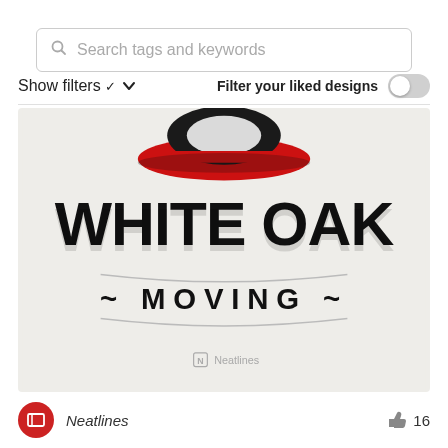[Figure (screenshot): Search bar UI element with magnifying glass icon and placeholder text 'Search tags and keywords']
Show filters ∨
Filter your liked designs
[Figure (logo): White Oak Moving logo design on light gray background. Features bold black arched text 'WHITE OAK' at top, '~ MOVING ~' in smaller caps below, and a red/black illustrated duck or bird mascot at the top. Neatlines watermark in center-bottom area.]
Neatlines
16